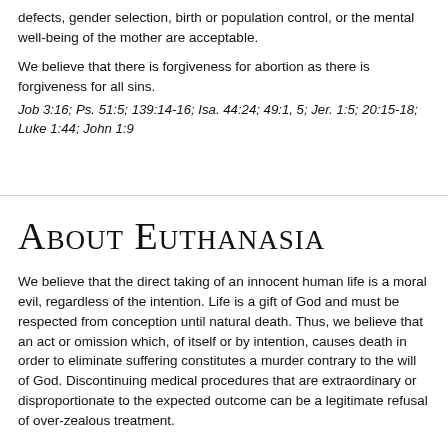defects, gender selection, birth or population control, or the mental well-being of the mother are acceptable.
We believe that there is forgiveness for abortion as there is forgiveness for all sins.
Job 3:16; Ps. 51:5; 139:14-16; Isa. 44:24; 49:1, 5; Jer. 1:5; 20:15-18; Luke 1:44; John 1:9
About Euthanasia
We believe that the direct taking of an innocent human life is a moral evil, regardless of the intention. Life is a gift of God and must be respected from conception until natural death. Thus, we believe that an act or omission which, of itself or by intention, causes death in order to eliminate suffering constitutes a murder contrary to the will of God. Discontinuing medical procedures that are extraordinary or disproportionate to the expected outcome can be a legitimate refusal of over-zealous treatment.